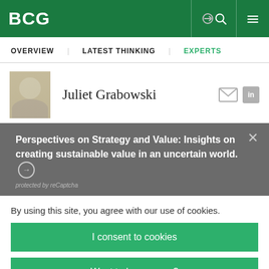BCG
OVERVIEW   LATEST THINKING   EXPERTS
Juliet Grabowski
Perspectives on Strategy and Value: Insights on creating sustainable value in an uncertain world. ➜
protected by reCaptcha
By using this site, you agree with our use of cookies.
I consent to cookies
Want to know more?
Read our Cookie Policy